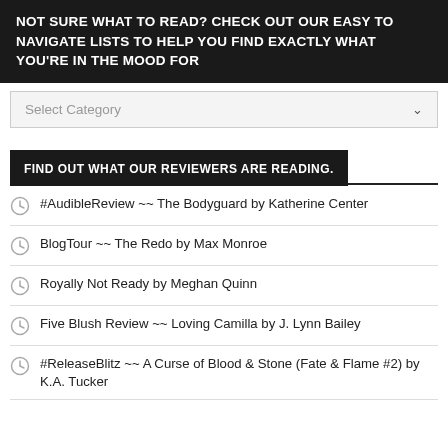NOT SURE WHAT TO READ? CHECK OUT OUR EASY TO NAVIGATE LISTS TO HELP YOU FIND EXACTLY WHAT YOU'RE IN THE MOOD FOR
Select Category
FIND OUT WHAT OUR REVIEWERS ARE READING.
#AudibleReview ~~ The Bodyguard by Katherine Center
BlogTour ~~ The Redo by Max Monroe
Royally Not Ready by Meghan Quinn
Five Blush Review ~~ Loving Camilla by J. Lynn Bailey
#ReleaseBlitz ~~ A Curse of Blood & Stone (Fate & Flame #2) by K.A. Tucker